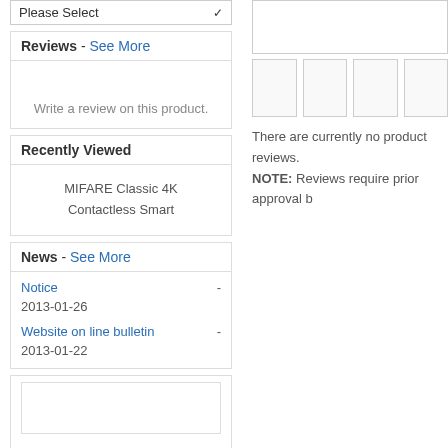Please Select
Reviews - See More
Write a review on this product.
Recently Viewed
MIFARE Classic 4K
Contactless Smart
News - See More
Notice - 2013-01-26
Website on line bulletin - 2013-01-22
There are currently no product reviews.
NOTE: Reviews require prior approval b